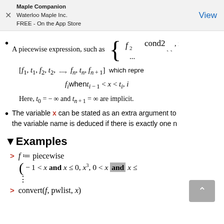Maple Companion
Waterloo Maple Inc.
FREE - On the App Store
View
A piecewise expression, such as { f2  cond2, ...
Here, t_0 = -∞ and t_{n+1} = ∞ are implicit.
The variable x can be stated as an extra argument to the variable name is deduced if there is exactly one n
▼Examples
> f ≔ piecewise
:
> convert(f, pwlist, x)